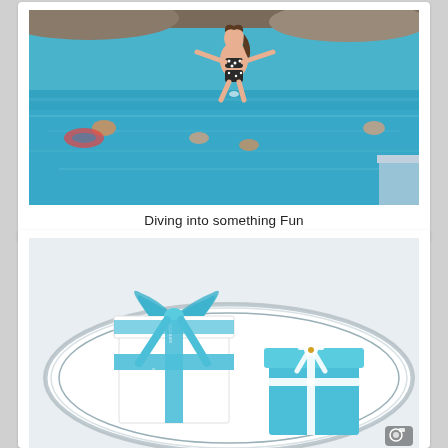[Figure (photo): Woman in polka dot bikini jumping off a cliff into turquoise blue water, with other people swimming below]
Diving into something Fun
[Figure (photo): Two Tiffany-style gift boxes on a white plate with silver rim — one white box with teal ribbon and bow, one teal fondant cake shaped like a gift box with white ribbon]